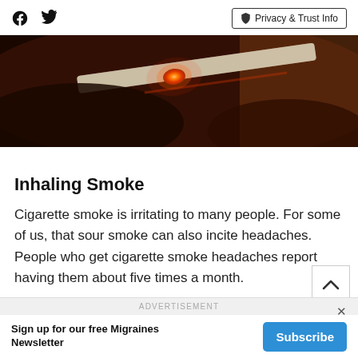Facebook Twitter | Privacy & Trust Info
[Figure (photo): Close-up dark background photo of a lit cigarette with glowing ember, red and brown tones]
Inhaling Smoke
Cigarette smoke is irritating to many people. For some of us, that sour smoke can also incite headaches. People who get cigarette smoke headaches report having them about five times a month.
ADVERTISEMENT
Sign up for our free Migraines Newsletter